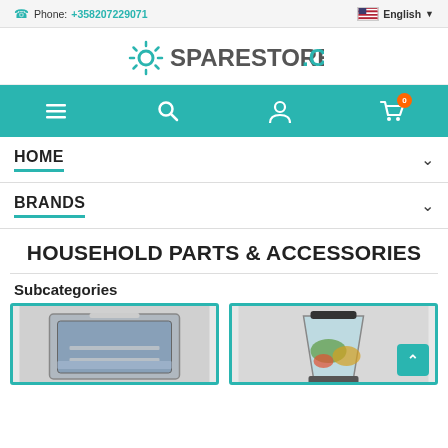Phone: +358207229071 | English
[Figure (logo): SpareStore.com logo with gear icon]
[Figure (screenshot): Navigation bar with hamburger menu, search, account, and cart icons on teal background]
HOME
BRANDS
HOUSEHOLD PARTS & ACCESSORIES
Subcategories
[Figure (photo): Dishwasher product subcategory image]
[Figure (photo): Blender product subcategory image]